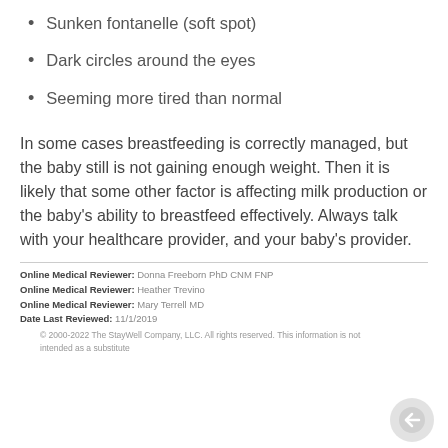Sunken fontanelle (soft spot)
Dark circles around the eyes
Seeming more tired than normal
In some cases breastfeeding is correctly managed, but the baby still is not gaining enough weight. Then it is likely that some other factor is affecting milk production or the baby's ability to breastfeed effectively. Always talk with your healthcare provider, and your baby's provider.
Online Medical Reviewer: Donna Freeborn PhD CNM FNP
Online Medical Reviewer: Heather Trevino
Online Medical Reviewer: Mary Terrell MD
Date Last Reviewed: 11/1/2019
© 2000-2022 The StayWell Company, LLC. All rights reserved. This information is not intended as a substitute...